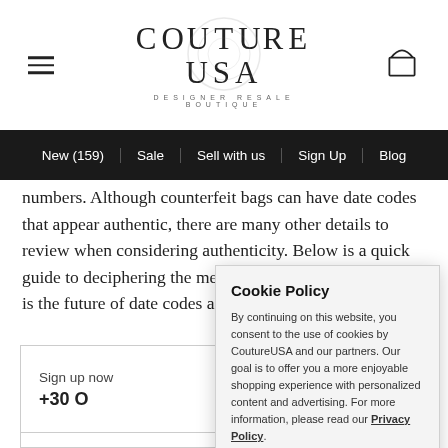COUTURE USA — DESIGNER RESALE BOUTIQUE
New (159) | Sale | Sell with us | Sign Up | Blog
numbers. Although counterfeit bags can have date codes that appear authentic, there are many other details to review when considering authenticity. Below is a quick guide to deciphering the meaning of date codes and what is the future of date codes as of 2021.
Sign up now
+30 O
Cookie Policy

By continuing on this website, you consent to the use of cookies by CoutureUSA and our partners. Our goal is to offer you a more enjoyable shopping experience with personalized content and advertising. For more information, please read our Privacy Policy.
OK
More Info